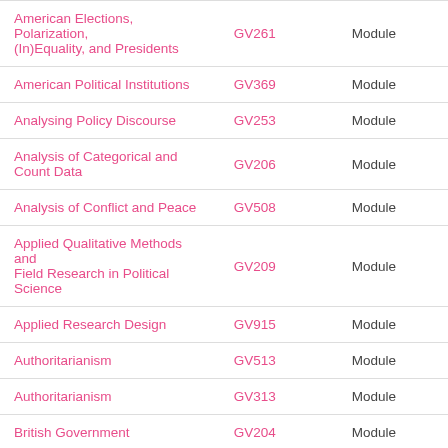| Module Name | Code | Type |
| --- | --- | --- |
| American Elections, Polarization, (In)Equality, and Presidents | GV261 | Module |
| American Political Institutions | GV369 | Module |
| Analysing Policy Discourse | GV253 | Module |
| Analysis of Categorical and Count Data | GV206 | Module |
| Analysis of Conflict and Peace | GV508 | Module |
| Applied Qualitative Methods and Field Research in Political Science | GV209 | Module |
| Applied Research Design | GV915 | Module |
| Authoritarianism | GV513 | Module |
| Authoritarianism | GV313 | Module |
| British Government | GV204 | Module |